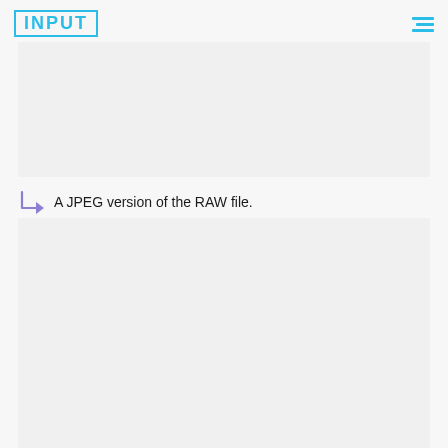INPUT
[Figure (screenshot): Top image placeholder block — light gray rectangle]
A JPEG version of the RAW file.
[Figure (screenshot): Bottom image placeholder block — light gray rectangle]